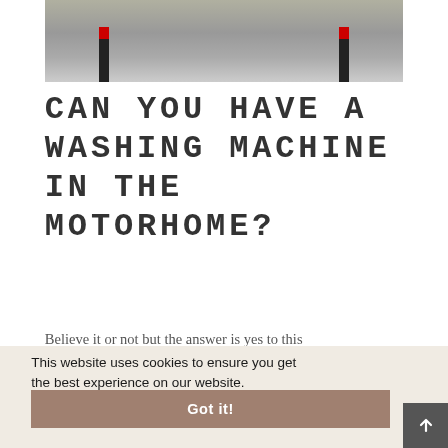[Figure (photo): Outdoor photo showing a paved area with black bollards capped with red markings, likely a motorhome park or similar facility.]
CAN YOU HAVE A WASHING MACHINE IN THE MOTORHOME?
Believe it or not but the answer is yes to this question. You can have your own washing machine
This website uses cookies to ensure you get the best experience on our website. Learn more
Got it!
ng
machine